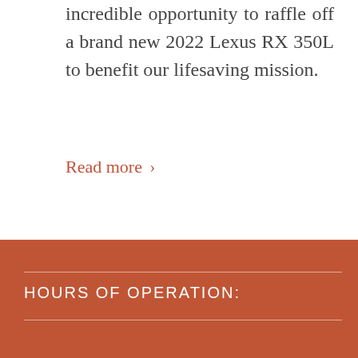incredible opportunity to raffle off a brand new 2022 Lexus RX 350L to benefit our lifesaving mission.
Read more ›
« 1 2 3 4
5 › »   Page 3 of 18
HOURS OF OPERATION: